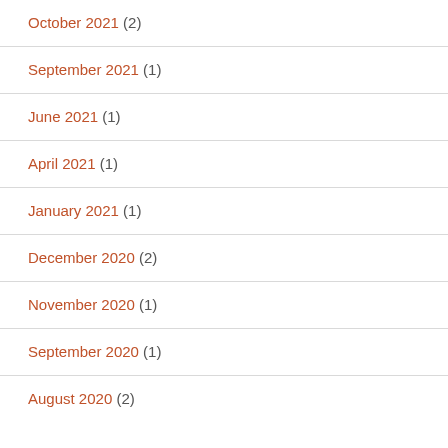October 2021 (2)
September 2021 (1)
June 2021 (1)
April 2021 (1)
January 2021 (1)
December 2020 (2)
November 2020 (1)
September 2020 (1)
August 2020 (2)